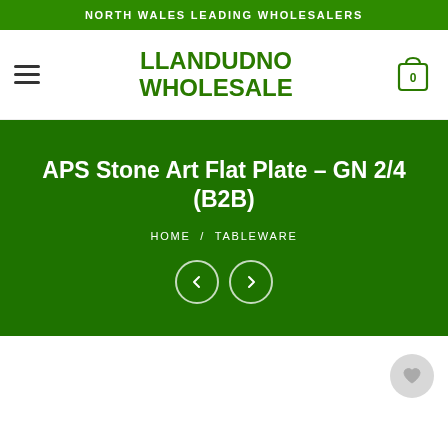NORTH WALES LEADING WHOLESALERS
[Figure (logo): Llandudno Wholesale logo in bold green text with hamburger menu icon on left and shopping cart icon on right]
APS Stone Art Flat Plate – GN 2/4 (B2B)
HOME / TABLEWARE